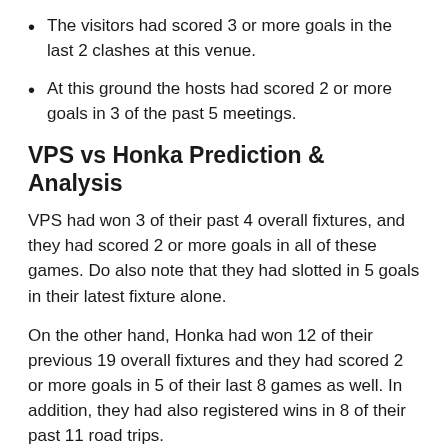The visitors had scored 3 or more goals in the last 2 clashes at this venue.
At this ground the hosts had scored 2 or more goals in 3 of the past 5 meetings.
VPS vs Honka Prediction & Analysis
VPS had won 3 of their past 4 overall fixtures, and they had scored 2 or more goals in all of these games. Do also note that they had slotted in 5 goals in their latest fixture alone.
On the other hand, Honka had won 12 of their previous 19 overall fixtures and they had scored 2 or more goals in 5 of their last 8 games as well. In addition, they had also registered wins in 8 of their past 11 road trips.